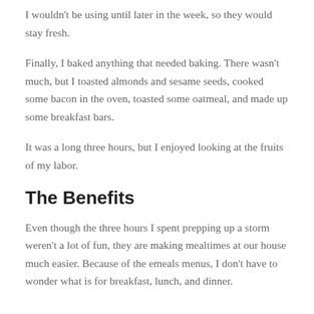I wouldn't be using until later in the week, so they would stay fresh.
Finally, I baked anything that needed baking. There wasn't much, but I toasted almonds and sesame seeds, cooked some bacon in the oven, toasted some oatmeal, and made up some breakfast bars.
It was a long three hours, but I enjoyed looking at the fruits of my labor.
The Benefits
Even though the three hours I spent prepping up a storm weren't a lot of fun, they are making mealtimes at our house much easier. Because of the emeals menus, I don't have to wonder what is for breakfast, lunch, and dinner.